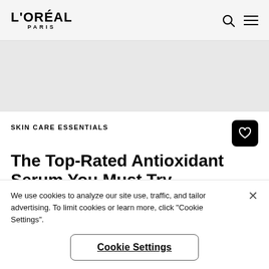L'ORÉAL PARIS
SKIN CARE ESSENTIALS
The Top-Rated Antioxidant Serum You Must Try
MARCH 06, 2020
We use cookies to analyze our site use, traffic, and tailor advertising. To limit cookies or learn more, click "Cookie Settings".
Cookie Settings